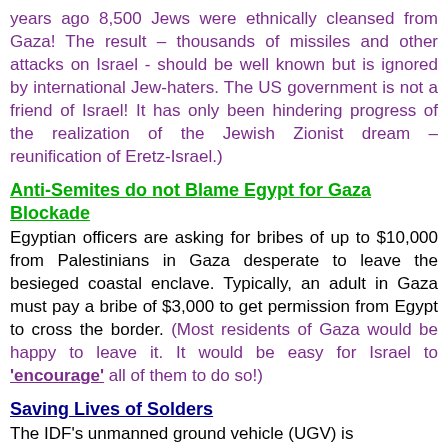years ago 8,500 Jews were ethnically cleansed from Gaza! The result – thousands of missiles and other attacks on Israel - should be well known but is ignored by international Jew-haters. The US government is not a friend of Israel! It has only been hindering progress of the realization of the Jewish Zionist dream – reunification of Eretz-Israel.)
Anti-Semites do not Blame Egypt for Gaza Blockade
Egyptian officers are asking for bribes of up to $10,000 from Palestinians in Gaza desperate to leave the besieged coastal enclave. Typically, an adult in Gaza must pay a bribe of $3,000 to get permission from Egypt to cross the border. (Most residents of Gaza would be happy to leave it. It would be easy for Israel to 'encourage' all of them to do so!)
Saving Lives of Solders
The IDF's unmanned ground vehicle (UGV) is